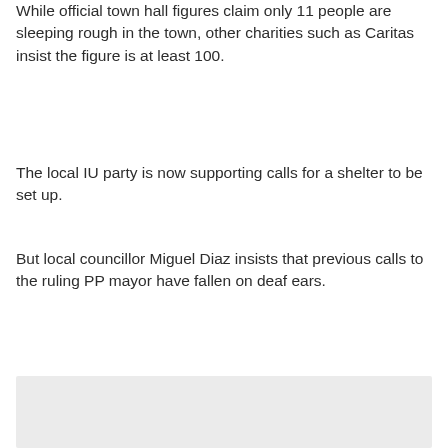While official town hall figures claim only 11 people are sleeping rough in the town, other charities such as Caritas insist the figure is at least 100.
The local IU party is now supporting calls for a shelter to be set up.
But local councillor Miguel Diaz insists that previous calls to the ruling PP mayor have fallen on deaf ears.
[Figure (photo): Gray placeholder image area]